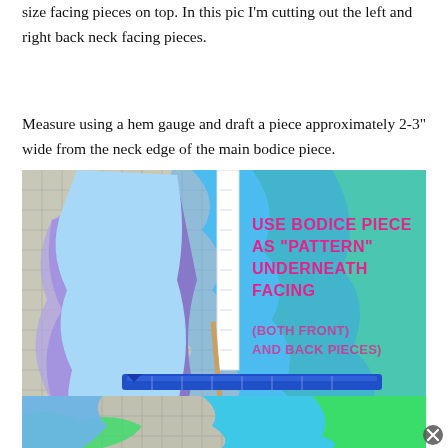size facing pieces on top. In this pic I'm cutting out the left and right back neck facing pieces.
Measure using a hem gauge and draft a piece approximately 2-3" wide from the neck edge of the main bodice piece.
[Figure (photo): Photo of blue/purple/green holographic fabric on a cutting mat with a white ruler and blue sewing gauge. Pink text overlay reads: USE BODICE PIECE AS "PATTERN" UNDERNEATH FACING (BOTH FRONT AND BACK PIECES)]
[Figure (photo): Partial photo at bottom showing green and blue fabric pieces on a cutting mat grid.]